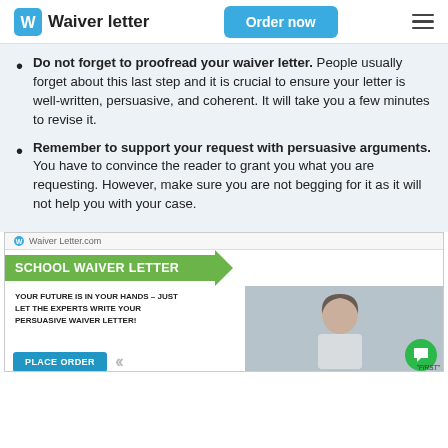Waiver letter | Order now
Do not forget to proofread your waiver letter. People usually forget about this last step and it is crucial to ensure your letter is well-written, persuasive, and coherent. It will take you a few minutes to revise it.
Remember to support your request with persuasive arguments. You have to convince the reader to grant you what you are requesting. However, make sure you are not begging for it as it will not help you with your case.
[Figure (infographic): Advertisement banner for WaiverLetter.com promoting a School Waiver Letter service. Contains site logo, green header 'SCHOOL WAIVER LETTER', subtext 'YOUR FUTURE IS IN YOUR HANDS – JUST LET THE EXPERTS WRITE YOUR PERSUASIVE WAIVER LETTER!', a blue 'PLACE ORDER' button, navigation arrows, a photo of a young woman studying, a green chat bubble icon, and a discount code tag reading 'FIRST code for'.]